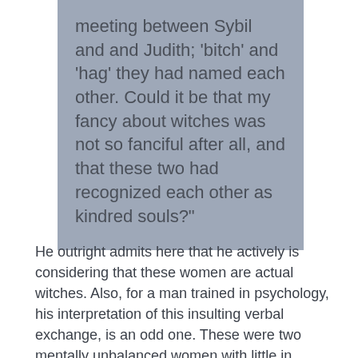meeting between Sybil and and Judith; 'bitch' and 'hag' they had named each other. Could it be that my fancy about witches was not so fanciful after all, and that these two had recognized each other as kindred souls?"
He outright admits here that he actively is considering that these women are actual witches. Also, for a man trained in psychology, his interpretation of this insulting verbal exchange, is an odd one. These were two mentally unbalanced women with little in